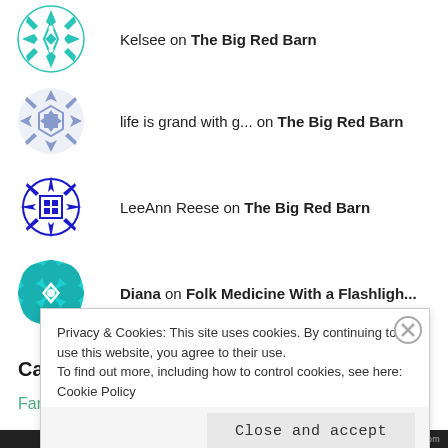Kelsee on The Big Red Barn
life is grand with g... on The Big Red Barn
LeeAnn Reese on The Big Red Barn
Diana on Folk Medicine With a Flashligh...
Categories
Family
Privacy & Cookies: This site uses cookies. By continuing to use this website, you agree to their use.
To find out more, including how to control cookies, see here: Cookie Policy
Close and accept